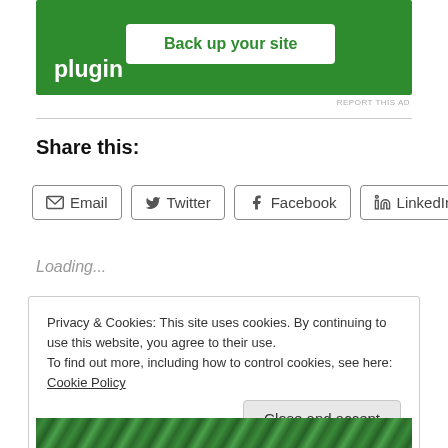[Figure (other): Green advertisement banner with text 'plugin' and a white button 'Back up your site']
REPORT THIS AD
Share this:
Email  Twitter  Facebook  LinkedIn
Loading...
Privacy & Cookies: This site uses cookies. By continuing to use this website, you agree to their use.
To find out more, including how to control cookies, see here: Cookie Policy
Close and accept